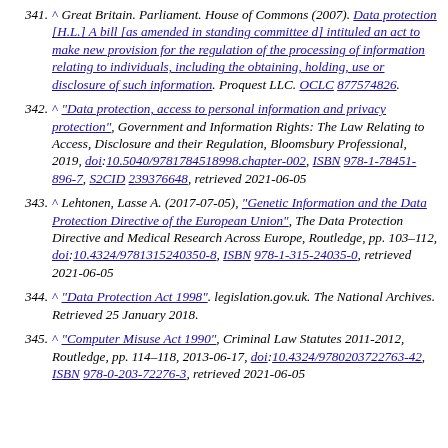341. ^ Great Britain. Parliament. House of Commons (2007). Data protection [H.L.] A bill [as amended in standing committee d] intituled an act to make new provision for the regulation of the processing of information relating to individuals, including the obtaining, holding, use or disclosure of such information. Proquest LLC. OCLC 877574826.
342. ^ "Data protection, access to personal information and privacy protection", Government and Information Rights: The Law Relating to Access, Disclosure and their Regulation, Bloomsbury Professional, 2019, doi:10.5040/9781784518998.chapter-002, ISBN 978-1-78451-896-7, S2CID 239376648, retrieved 2021-06-05
343. ^ Lehtonen, Lasse A. (2017-07-05), "Genetic Information and the Data Protection Directive of the European Union", The Data Protection Directive and Medical Research Across Europe, Routledge, pp. 103–112, doi:10.4324/9781315240350-8, ISBN 978-1-315-24035-0, retrieved 2021-06-05
344. ^ "Data Protection Act 1998". legislation.gov.uk. The National Archives. Retrieved 25 January 2018.
345. ^ "Computer Misuse Act 1990", Criminal Law Statutes 2011-2012, Routledge, pp. 114–118, 2013-06-17, doi:10.4324/9780203722763-42, ISBN 978-0-203-72276-3, retrieved 2021-06-05